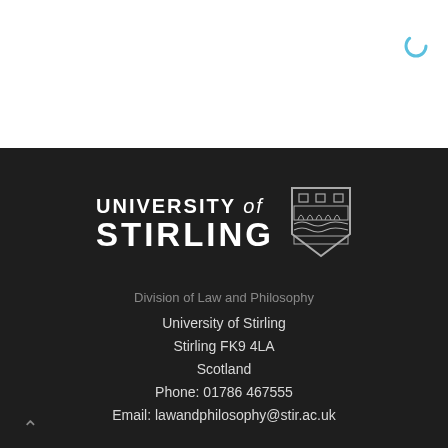[Figure (logo): University of Stirling logo with shield crest on dark background]
Division of Law and Philosophy
University of Stirling
Stirling FK9 4LA
Scotland
Phone: 01786 467555
Email: lawandphilosophy@stir.ac.uk